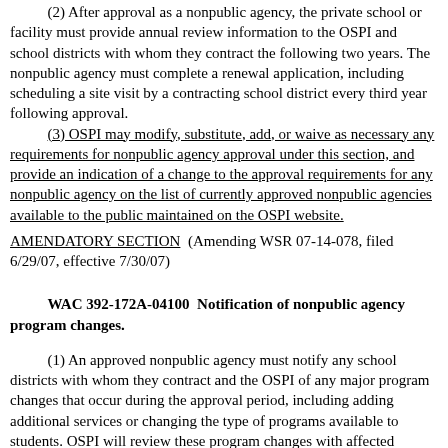(2) After approval as a nonpublic agency, the private school or facility must provide annual review information to the OSPI and school districts with whom they contract the following two years. The nonpublic agency must complete a renewal application, including scheduling a site visit by a contracting school district every third year following approval.
(3) OSPI may modify, substitute, add, or waive as necessary any requirements for nonpublic agency approval under this section, and provide an indication of a change to the approval requirements for any nonpublic agency on the list of currently approved nonpublic agencies available to the public maintained on the OSPI website.
AMENDATORY SECTION (Amending WSR 07-14-078, filed 6/29/07, effective 7/30/07)
WAC 392-172A-04100 Notification of nonpublic agency program changes.
(1) An approved nonpublic agency must notify any school districts with whom they contract and the OSPI of any major program changes that occur during the approval period, including adding additional services or changing the type of programs available to students. OSPI will review these program changes with affected districts to determine whether the nonpublic agency remains able to provide contracted services to public school students eligible for special education services.